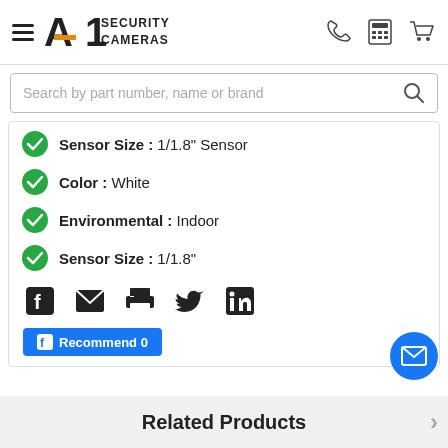[Figure (logo): A1 Security Cameras logo with hamburger menu, phone, calculator, and cart icons in the header]
[Figure (screenshot): Search bar with placeholder text 'Search by part number, name or brand' and magnifying glass icon]
Sensor Size : 1/1.8" Sensor
Color : White
Environmental : Indoor
Sensor Size : 1/1.8"
[Figure (infographic): Social sharing icons: Facebook, Email, Print, Twitter, LinkedIn]
[Figure (screenshot): Facebook Recommend button with count 0]
[Figure (infographic): Floating blue email contact button]
Related Products